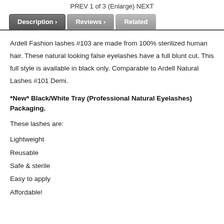PREV   1 of 3 (Enlarge)   NEXT
Description › | Reviews › | Related
Ardell Fashion lashes #103 are made from 100% sterilized human hair. These natural looking false eyelashes have a full blunt cut. This full style is available in black only. Comparable to Ardell Natural Lashes #101 Demi.
*New* Black/White Tray (Professional Natural Eyelashes) Packaging.
These lashes are:
Lightweight
Reusable
Safe & sterile
Easy to apply
Affordable!